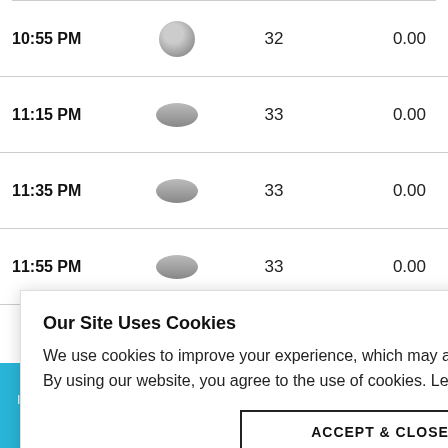| Time | Condition | Temp | Precip |
| --- | --- | --- | --- |
| 10:55 PM | [icon] | 32 | 0.00 |
| 11:15 PM | [icon] | 33 | 0.00 |
| 11:35 PM | [icon] | 33 | 0.00 |
| 11:55 PM | [icon] | 33 | 0.00 |
Our Site Uses Cookies
We use cookies to improve your experience, which may also include cookies from third parties. By using our website, you agree to the use of cookies. Learn more in our privacy policy.
ACCEPT & CLOSE
innamnor from last night #tropicalcyclones #severeweather